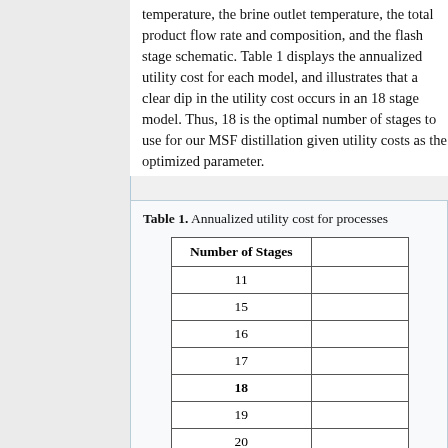temperature, the brine outlet temperature, the total product flow rate and composition, and the flash stage schematic. Table 1 displays the annualized utility cost for each model, and illustrates that a clear dip in the utility cost occurs in an 18 stage model. Thus, 18 is the optimal number of stages to use for our MSF distillation given utility costs as the optimized parameter.
Table 1. Annualized utility cost for processes
| Number of Stages |  |
| --- | --- |
| 11 |  |
| 15 |  |
| 16 |  |
| 17 |  |
| 18 |  |
| 19 |  |
| 20 |  |
| 25 |  |